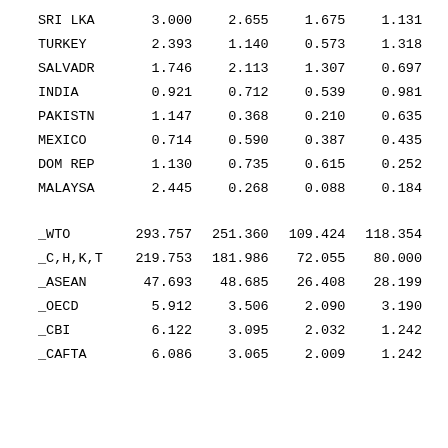| SRI LKA | 3.000 | 2.655 | 1.675 | 1.131 |
| TURKEY | 2.393 | 1.140 | 0.573 | 1.318 |
| SALVADR | 1.746 | 2.113 | 1.307 | 0.697 |
| INDIA | 0.921 | 0.712 | 0.539 | 0.981 |
| PAKISTN | 1.147 | 0.368 | 0.210 | 0.635 |
| MEXICO | 0.714 | 0.590 | 0.387 | 0.435 |
| DOM REP | 1.130 | 0.735 | 0.615 | 0.252 |
| MALAYSA | 2.445 | 0.268 | 0.088 | 0.184 |
| _WTO | 293.757 | 251.360 | 109.424 | 118.354 |
| _C,H,K,T | 219.753 | 181.986 | 72.055 | 80.000 |
| _ASEAN | 47.693 | 48.685 | 26.408 | 28.199 |
| _OECD | 5.912 | 3.506 | 2.090 | 3.190 |
| _CBI | 6.122 | 3.095 | 2.032 | 1.242 |
| _CAFTA | 6.086 | 3.065 | 2.009 | 1.242 |